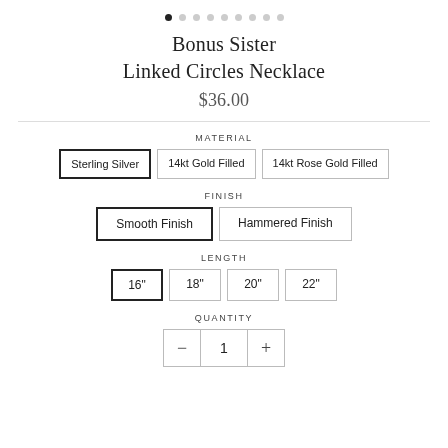[Figure (other): Dot carousel navigation indicator with 9 dots, first dot filled/active]
Bonus Sister Linked Circles Necklace
$36.00
MATERIAL
Sterling Silver (selected)
14kt Gold Filled
14kt Rose Gold Filled
FINISH
Smooth Finish (selected)
Hammered Finish
LENGTH
16" (selected)
18"
20"
22"
QUANTITY
- 1 +